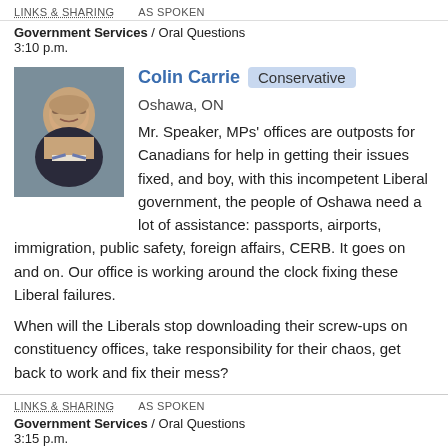LINKS & SHARING   AS SPOKEN
Government Services / Oral Questions
3:10 p.m.
[Figure (photo): Headshot photo of Colin Carrie, a middle-aged man with glasses wearing a suit and tie, smiling, grey/blue background]
Colin Carrie  Conservative  Oshawa, ON
Mr. Speaker, MPs' offices are outposts for Canadians for help in getting their issues fixed, and boy, with this incompetent Liberal government, the people of Oshawa need a lot of assistance: passports, airports, immigration, public safety, foreign affairs, CERB. It goes on and on. Our office is working around the clock fixing these Liberal failures.
When will the Liberals stop downloading their screw-ups on constituency offices, take responsibility for their chaos, get back to work and fix their mess?
LINKS & SHARING   AS SPOKEN
Government Services / Oral Questions
3:15 p.m.